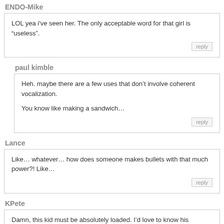ENDO-Mike
LOL yea i've seen her. The only acceptable word for that girl is “useless”.
paul kimble
Heh. maybe there are a few uses that don’t involve coherent vocalization.

You know like making a sandwich…
Lance
Like… whatever… how does someone makes bullets with that much power?! Like…
KPete
Damn, this kid must be absolutely loaded. I’d love to know his